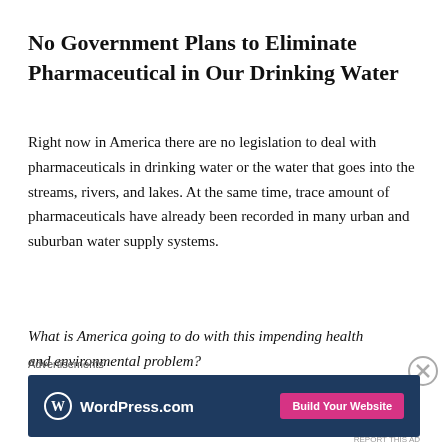No Government Plans to Eliminate Pharmaceutical in Our Drinking Water
Right now in America there are no legislation to deal with pharmaceuticals in drinking water or the water that goes into the streams, rivers, and lakes. At the same time, trace amount of pharmaceuticals have already been recorded in many urban and suburban water supply systems.
What is America going to do with this impending health and environmental problem?
Advertisements
[Figure (screenshot): WordPress.com advertisement banner with blue background, WordPress logo on left, and pink 'Build Your Website' button on right]